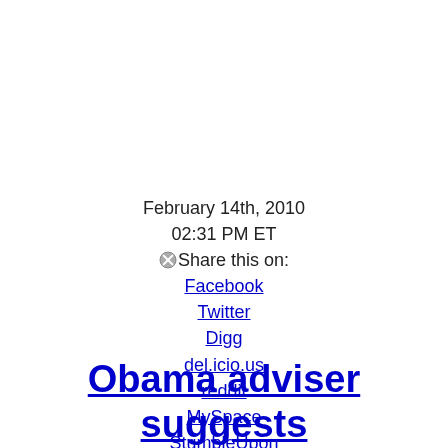February 14th, 2010
02:31 PM ET
Share this on:
Facebook
Twitter
Digg
del.icio.us
reddit
MySpace
StumbleUpon
13 years ago
Obama adviser suggests